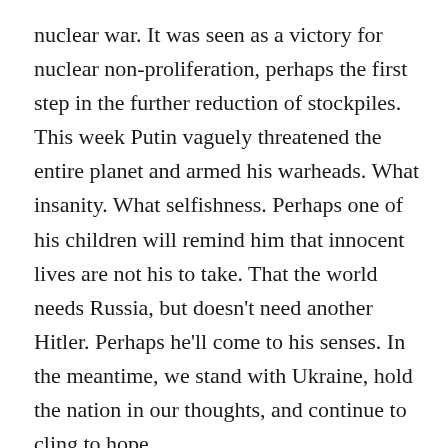nuclear war. It was seen as a victory for nuclear non-proliferation, perhaps the first step in the further reduction of stockpiles. This week Putin vaguely threatened the entire planet and armed his warheads. What insanity. What selfishness. Perhaps one of his children will remind him that innocent lives are not his to take. That the world needs Russia, but doesn't need another Hitler. Perhaps he'll come to his senses. In the meantime, we stand with Ukraine, hold the nation in our thoughts, and continue to cling to hope.